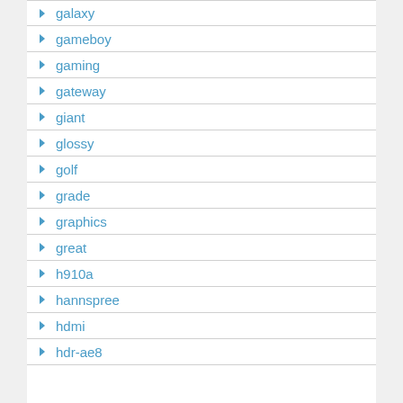galaxy
gameboy
gaming
gateway
giant
glossy
golf
grade
graphics
great
h910a
hannspree
hdmi
hdr-ae8